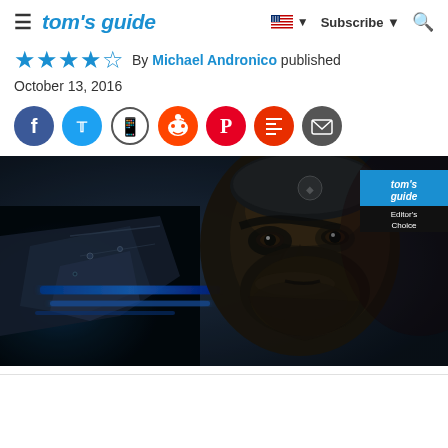tom's guide | Subscribe | Search
★★★★½ By Michael Andronico published
October 13, 2016
[Figure (screenshot): Social sharing buttons row: Facebook (blue), Twitter (blue), WhatsApp (white/dark), Reddit (dark), Pinterest (red), Flipboard (red-orange), Email (dark)]
[Figure (photo): Hero image from a video game (Gears of War 4) showing a close-up of a grizzled bearded soldier in dark futuristic armor holding a large weapon, with blue glowing mechanical parts. A Tom's Guide Editor's Choice badge is in the top-right corner.]